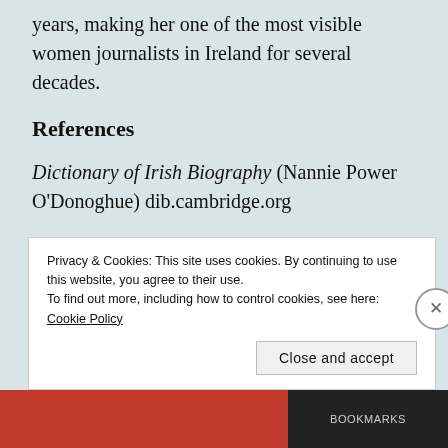years, making her one of the most visible women journalists in Ireland for several decades.
References
Dictionary of Irish Biography (Nannie Power O'Donoghue) dib.cambridge.org
Olga E Lockley, Nannie Lambert Power O'Donoghue: a biography (Preston: Bee Press, 2001)
Privacy & Cookies: This site uses cookies. By continuing to use this website, you agree to their use.
To find out more, including how to control cookies, see here:
Cookie Policy
Close and accept